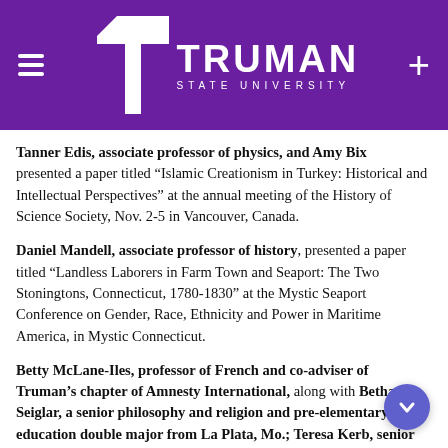Truman State University
Tanner Edis, associate professor of physics, and Amy Bix presented a paper titled “Islamic Creationism in Turkey: Historical and Intellectual Perspectives” at the annual meeting of the History of Science Society, Nov. 2-5 in Vancouver, Canada.
Daniel Mandell, associate professor of history, presented a paper titled “Landless Laborers in Farm Town and Seaport: The Two Stoningtons, Connecticut, 1780-1830” at the Mystic Seaport Conference on Gender, Race, Ethnicity and Power in Maritime America, in Mystic Connecticut.
Betty McLane-Iles, professor of French and co-adviser of Truman’s chapter of Amnesty International, along with Bethanie Seiglar, a senior philosophy and religion and pre-elementary education double major from La Plata, Mo.; Teresa Kerb, senior biology major from Kansas City, Mo.; and Mike S, a sophomore political science major from St. Louis; represented Truman’s chapter of Amnesty International at the Amnesty